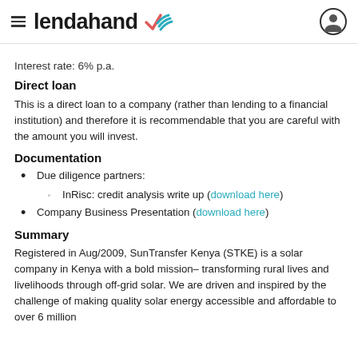lendahand
Interest rate: 6% p.a.
Direct loan
This is a direct loan to a company (rather than lending to a financial institution) and therefore it is recommendable that you are careful with the amount you will invest.
Documentation
Due diligence partners:
InRisc: credit analysis write up (download here)
Company Business Presentation (download here)
Summary
Registered in Aug/2009, SunTransfer Kenya (STKE) is a solar company in Kenya with a bold mission– transforming rural lives and livelihoods through off-grid solar. We are driven and inspired by the challenge of making quality solar energy accessible and affordable to over 6 million